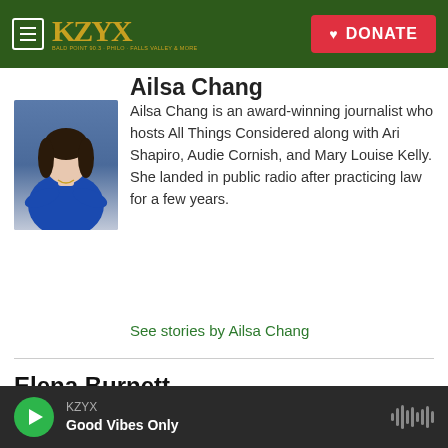KZYX | DONATE
Ailsa Chang
[Figure (photo): Photo of Ailsa Chang wearing a blue top with arms crossed]
Ailsa Chang is an award-winning journalist who hosts All Things Considered along with Ari Shapiro, Audie Cornish, and Mary Louise Kelly. She landed in public radio after practicing law for a few years.
See stories by Ailsa Chang
Elena Burnett
See stories by Elena Burnett
KZYX Good Vibes Only